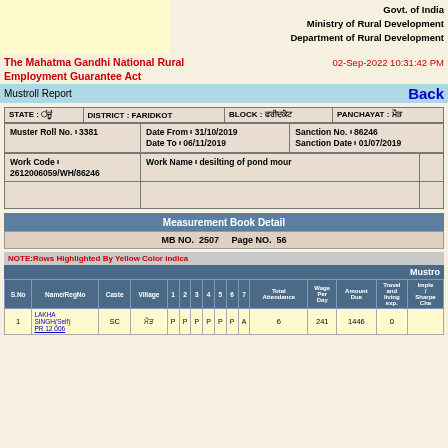Govt. of India
Ministry of Rural Development
Department of Rural Development
The Mahatma Gandhi National Rural Employment Guarantee Act
02-Sep-2022 10:31:42 PM
Mustroll Report
| STATE | DISTRICT | BLOCK | PANCHAYAT |
| --- | --- | --- | --- |
| [Hindi text] | FARIDKOT | [Hindi text] | [Hindi text] |
| Muster Roll No. | Date From / Date To | Sanction No. / Sanction Date |
| --- | --- | --- |
| 3381 | 31/10/2019 / 06/11/2019 | 86246 / 01/07/2019 |
| Work Code | Work Name |
| --- | --- |
| 2612006059/WH/86246 | desilting of pond mour |
Measurement Book Detail
MB NO. 2507    Page NO. 56
NOTE:Rows Highlighted By Yellow Color indica
Mustro
| S.No | Name/RegNo | Caste | Village | 1 | 2 | 3 | 4 | 5 | 6 | 7 | Total Attendance | Wage Per Day | Amount Due | Travel and living exp. | Implem / Sharpe Cha |
| --- | --- | --- | --- | --- | --- | --- | --- | --- | --- | --- | --- | --- | --- | --- | --- |
| 1 | LAKHA SINGH(Self)
PR 12 006 | SC | [Hindi] | P | P | P | P | P | P | A | 6 | 241 | 1446 | 0 |  |